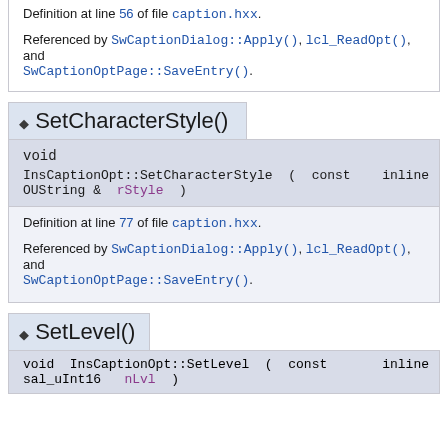Definition at line 56 of file caption.hxx.
Referenced by SwCaptionDialog::Apply(), lcl_ReadOpt(), and SwCaptionOptPage::SaveEntry().
◆ SetCharacterStyle()
void
InsCaptionOpt::SetCharacterStyle ( const OUString &  rStyle )  inline
Definition at line 77 of file caption.hxx.
Referenced by SwCaptionDialog::Apply(), lcl_ReadOpt(), and SwCaptionOptPage::SaveEntry().
◆ SetLevel()
void InsCaptionOpt::SetLevel ( const sal_uInt16  nLvl )  inline